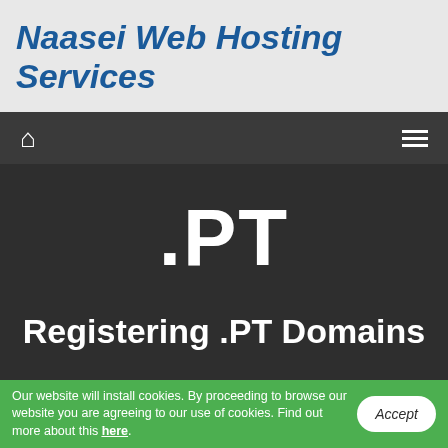Naasei Web Hosting Services
[Figure (screenshot): Navigation bar with home icon on left and hamburger menu icon on right, dark grey background]
.PT
Registering .PT Domains
Our website will install cookies. By proceeding to browse our website you are agreeing to our use of cookies. Find out more about this here.